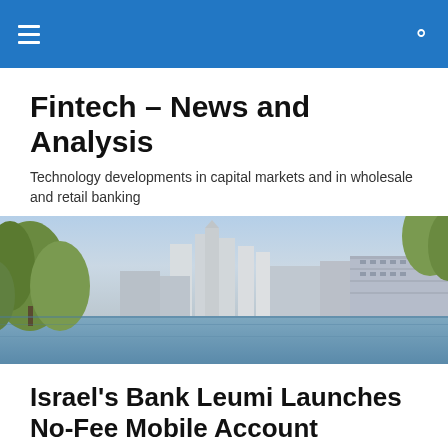Fintech – News and Analysis
Technology developments in capital markets and in wholesale and retail banking
[Figure (photo): Skyline photograph of Canary Wharf financial district in London, viewed from across the water, with trees and foliage in the foreground]
Israel's Bank Leumi Launches No-Fee Mobile Account
The Leumi Group has launched a new digital platform, named Pepper, that allows customers to manage all of